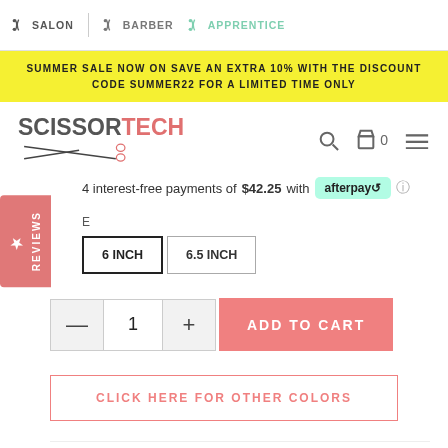SALON | BARBER | APPRENTICE
SUMMER SALE NOW ON SAVE AN EXTRA 10% WITH THE DISCOUNT CODE SUMMER22 FOR A LIMITED TIME ONLY
[Figure (logo): ScissorTech logo with scissors graphic]
4 interest-free payments of $42.25 with afterpay
E (size label)
6 INCH | 6.5 INCH (size buttons)
1 (quantity) | ADD TO CART
CLICK HERE FOR OTHER COLORS